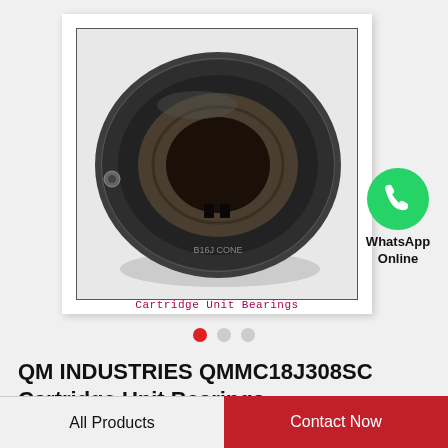[Figure (photo): Cartridge Unit Bearing (QM Industries QMMC18J308SC) shown from front view, dark metallic circular bearing with inner ring visible, on white background with border frame. Caption below reads 'Cartridge Unit Bearings' in red text.]
[Figure (logo): WhatsApp green circle logo with phone handset icon, labeled 'WhatsApp Online' in bold text below.]
QM INDUSTRIES QMMC18J308SC Cartridge Unit Bearings
All Products
Contact Now